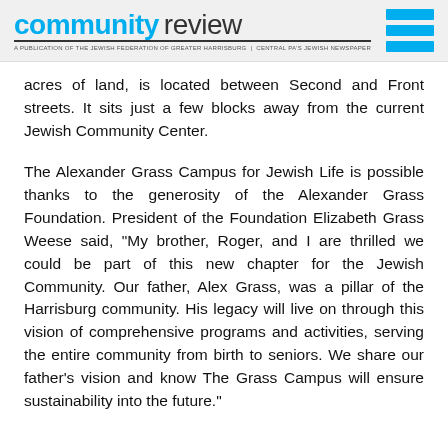community review — A PUBLICATION OF THE JEWISH FEDERATION OF GREATER HARRISBURG | CENTRAL PA'S JEWISH NEWSPAPER
acres of land, is located between Second and Front streets. It sits just a few blocks away from the current Jewish Community Center.
The Alexander Grass Campus for Jewish Life is possible thanks to the generosity of the Alexander Grass Foundation. President of the Foundation Elizabeth Grass Weese said, "My brother, Roger, and I are thrilled we could be part of this new chapter for the Jewish Community. Our father, Alex Grass, was a pillar of the Harrisburg community. His legacy will live on through this vision of comprehensive programs and activities, serving the entire community from birth to seniors. We share our father's vision and know The Grass Campus will ensure sustainability into the future."